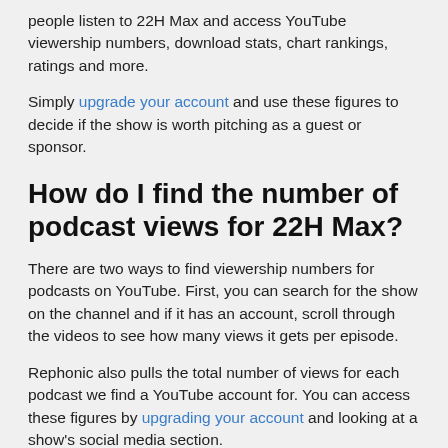people listen to 22H Max and access YouTube viewership numbers, download stats, chart rankings, ratings and more.
Simply upgrade your account and use these figures to decide if the show is worth pitching as a guest or sponsor.
How do I find the number of podcast views for 22H Max?
There are two ways to find viewership numbers for podcasts on YouTube. First, you can search for the show on the channel and if it has an account, scroll through the videos to see how many views it gets per episode.
Rephonic also pulls the total number of views for each podcast we find a YouTube account for. You can access these figures by upgrading your account and looking at a show's social media section.
How do I find listening figures for 22H Max?